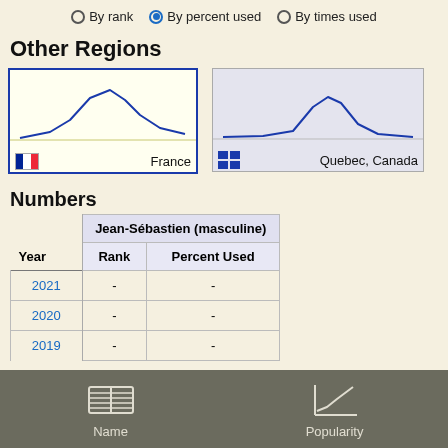By rank   •   By percent used (selected)   •   By times used
Other Regions
[Figure (continuous-plot): Line chart thumbnail showing name popularity trend for France, with a blue mountain-shaped curve on a yellow background. French flag icon shown at bottom left, label 'France' at bottom right.]
[Figure (continuous-plot): Line chart thumbnail showing name popularity trend for Quebec, Canada, with a small blue bell-shaped curve on a grey background. Quebec flag icon (blue squares) shown at bottom left, label 'Quebec, Canada' at bottom right.]
Numbers
| Year | Rank | Percent Used |
| --- | --- | --- |
| 2021 | - | - |
| 2020 | - | - |
| 2019 | - | - |